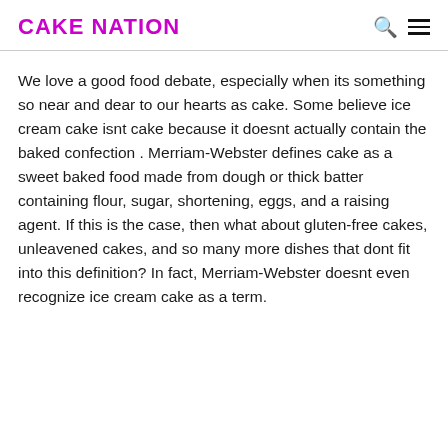CAKE NATION
We love a good food debate, especially when its something so near and dear to our hearts as cake. Some believe ice cream cake isnt cake because it doesnt actually contain the baked confection . Merriam-Webster defines cake as a sweet baked food made from dough or thick batter containing flour, sugar, shortening, eggs, and a raising agent. If this is the case, then what about gluten-free cakes, unleavened cakes, and so many more dishes that dont fit into this definition? In fact, Merriam-Webster doesnt even recognize ice cream cake as a term.